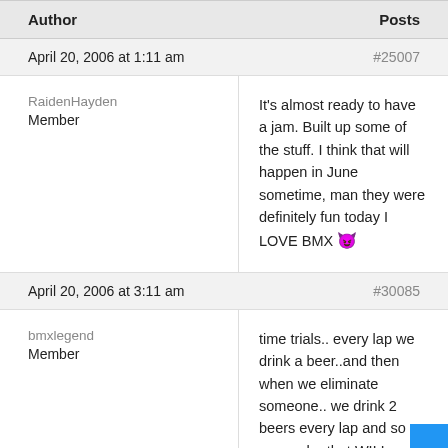| Author | Posts |
| --- | --- |
April 20, 2006 at 1:11 am
#25007
RaidenHayden
Member
It's almost ready to have a jam. Built up some of the stuff. I think that will happen in June sometime, man they were definitely fun today I LOVE BMX 😈
April 20, 2006 at 3:11 am
#30085
bmxlegend
Member
time trials.. every lap we drink a beer..and then when we eliminate someone.. we drink 2 beers every lap and so on..yeah.. that WILL seperate the men from the boys, FLAT PEDALS....SHIT.. LETS DO IT BRAKELESS